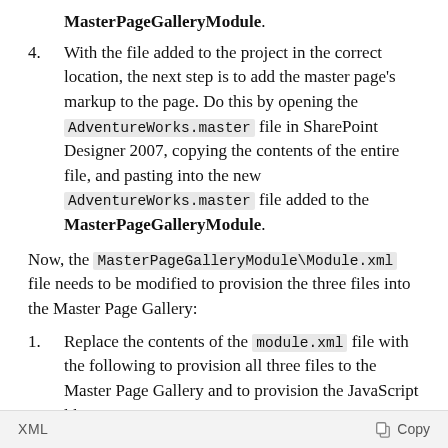MasterPageGalleryModule.
4. With the file added to the project in the correct location, the next step is to add the master page's markup to the page. Do this by opening the AdventureWorks.master file in SharePoint Designer 2007, copying the contents of the entire file, and pasting into the new AdventureWorks.master file added to the MasterPageGalleryModule.
Now, the MasterPageGalleryModule\Module.xml file needs to be modified to provision the three files into the Master Page Gallery:
1. Replace the contents of the module.xml file with the following to provision all three files to the Master Page Gallery and to provision the JavaScript library.
XML  Copy